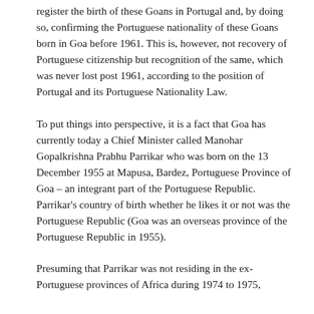...mained in the post 1961. Any interested party can register the birth of these Goans in Portugal and, by doing so, confirming the Portuguese nationality of these Goans born in Goa before 1961. This is, however, not recovery of Portuguese citizenship but recognition of the same, which was never lost post 1961, according to the position of Portugal and its Portuguese Nationality Law.
To put things into perspective, it is a fact that Goa has currently today a Chief Minister called Manohar Gopalkrishna Prabhu Parrikar who was born on the 13 December 1955 at Mapusa, Bardez, Portuguese Province of Goa – an integrant part of the Portuguese Republic. Parrikar's country of birth whether he likes it or not was the Portuguese Republic (Goa was an overseas province of the Portuguese Republic in 1955).
Presuming that Parrikar was not residing in the ex-Portuguese provinces of Africa during 1974 to 1975, Portuguese Nationality Law from Portuguese...